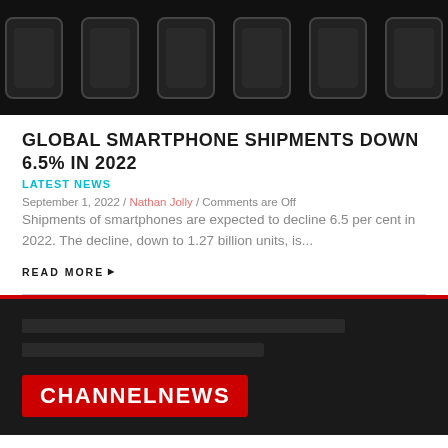[Figure (photo): Dark background image showing a row of smartphones from above, partial view]
GLOBAL SMARTPHONE SHIPMENTS DOWN 6.5% IN 2022
LATEST NEWS
September 1, 2022 / Nathan Jolly / Comments are Off
Shipments of smartphones are expected to decline 6.5 per cent in 2022. The decline, down to 1.27 billion units, is...
READ MORE ▶
[Figure (logo): ChannelNews logo — white bold text on red rectangle background, on dark footer]